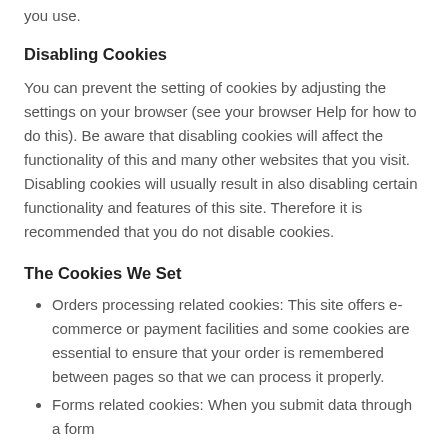you use.
Disabling Cookies
You can prevent the setting of cookies by adjusting the settings on your browser (see your browser Help for how to do this). Be aware that disabling cookies will affect the functionality of this and many other websites that you visit. Disabling cookies will usually result in also disabling certain functionality and features of this site. Therefore it is recommended that you do not disable cookies.
The Cookies We Set
Orders processing related cookies: This site offers e-commerce or payment facilities and some cookies are essential to ensure that your order is remembered between pages so that we can process it properly.
Forms related cookies: When you submit data through a form